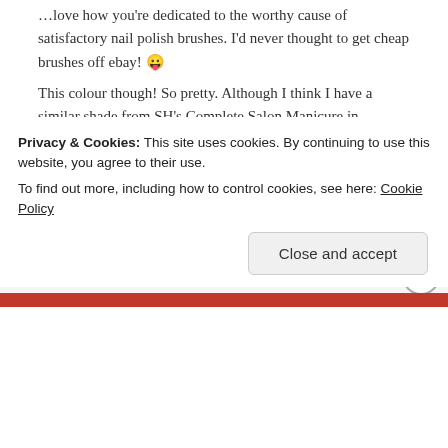…love how you're dedicated to the worthy cause of satisfactory nail polish brushes. I'd never thought to get cheap brushes off ebay! 😛 This colour though! So pretty. Although I think I have a similar shade from SH's Complete Salon Manicure in Problem Child… it's maybe less glittery.
★ Liked by 1 person
REPLY ↵
Privacy & Cookies: This site uses cookies. By continuing to use this website, you agree to their use. To find out more, including how to control cookies, see here: Cookie Policy
Close and accept